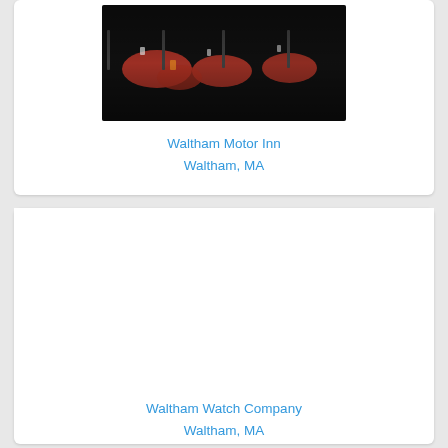[Figure (photo): Interior of a restaurant with red-cloth-covered tables and chairs in a dark room]
Waltham Motor Inn
Waltham, MA
[Figure (photo): Blank/empty photo area for Waltham Watch Company]
Waltham Watch Company
Waltham, MA